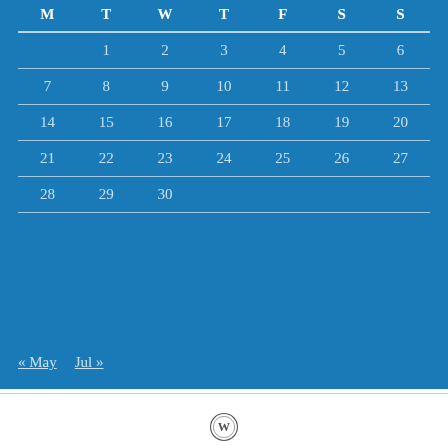| M | T | W | T | F | S | S |
| --- | --- | --- | --- | --- | --- | --- |
|  | 1 | 2 | 3 | 4 | 5 | 6 |
| 7 | 8 | 9 | 10 | 11 | 12 | 13 |
| 14 | 15 | 16 | 17 | 18 | 19 | 20 |
| 21 | 22 | 23 | 24 | 25 | 26 | 27 |
| 28 | 29 | 30 |  |  |  |  |
« May   Jul »